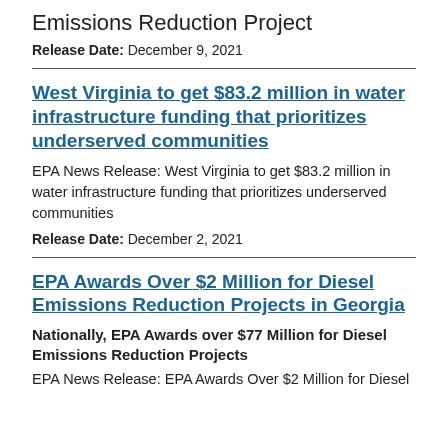Emissions Reduction Project
Release Date: December 9, 2021
West Virginia to get $83.2 million in water infrastructure funding that prioritizes underserved communities
EPA News Release: West Virginia to get $83.2 million in water infrastructure funding that prioritizes underserved communities
Release Date: December 2, 2021
EPA Awards Over $2 Million for Diesel Emissions Reduction Projects in Georgia
Nationally, EPA Awards over $77 Million for Diesel Emissions Reduction Projects
EPA News Release: EPA Awards Over $2 Million for Diesel